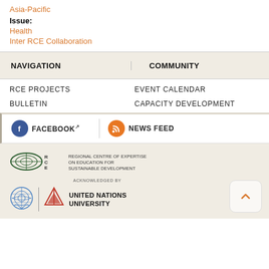Asia-Pacific
Issue:
Health
Inter RCE Collaboration
NAVIGATION
COMMUNITY
RCE PROJECTS
BULLETIN
EVENT CALENDAR
CAPACITY DEVELOPMENT
FACEBOOK
NEWS FEED
[Figure (logo): RCE Regional Centre of Expertise on Education for Sustainable Development logo with ellipse graphic]
ACKNOWLEDGED BY
[Figure (logo): United Nations emblem / wreath logo in blue]
[Figure (logo): United Nations University logo with red triangular symbol and text UNITED NATIONS UNIVERSITY]